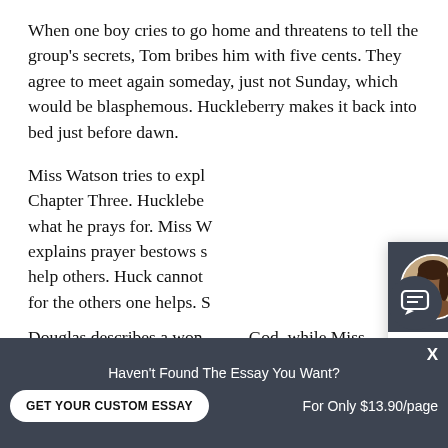When one boy cries to go home and threatens to tell the group's secrets, Tom bribes him with five cents. They agree to meet again someday, just not Sunday, which would be blasphemous. Huckleberry makes it back into bed just before dawn.
Miss Watson tries to explain prayer to Huck in Chapter Three. Huckleberry prays, but never gets what he prays for. Miss Watson explains that prayer bestows spiritual gifts that help others. Huck cannot see the point in praying for the others one helps. Widow Douglas describes a wonderful God, while Miss Watson's is terrible. Huck concludes there are two Gods. He wo...
[Figure (screenshot): Chat popup overlay with profile photo of Belinda. Header reads 'Hi! I'm Belinda!' on dark background. Body text: 'Would you like to get a custom essay? How about receiving a customized one?' with 'Check it out' link.]
[Figure (screenshot): Bottom bar overlay: 'Haven't Found The Essay You Want?' with 'GET YOUR CUSTOM ESSAY' button and 'For Only $13.90/page' text.]